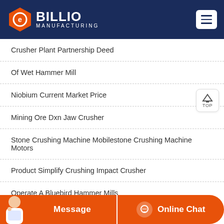BILLIO MANUFACTURING
Crusher Plant Partnership Deed
Of Wet Hammer Mill
Niobium Current Market Price
Mining Ore Dxn Jaw Crusher
Stone Crushing Machine Mobilestone Crushing Machine Motors
Product Simplify Crushing Impact Crusher
Operate A Bluebird Hammer Mills
Message  Online Chat